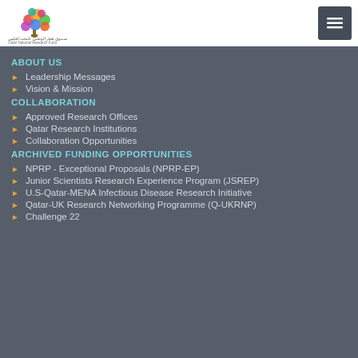[Figure (logo): Qatar National Research Fund colorful tree logo with Arabic and English text]
ABOUT US
Leadership Messages
Vision & Mission
COLLABORATION
Approved Research Offices
Qatar Research Institutions
Collaboration Opportunities
ARCHIVED FUNDING OPPORTUNITIES
NPRP - Exceptional Proposals (NPRP-EP)
Junior Scientists Research Experience Program (JSREP)
U.S-Qatar-MENA Infectious Disease Research Initiative
Qatar-UK Research Networking Programme (Q-UKRNP)
Challenge 22